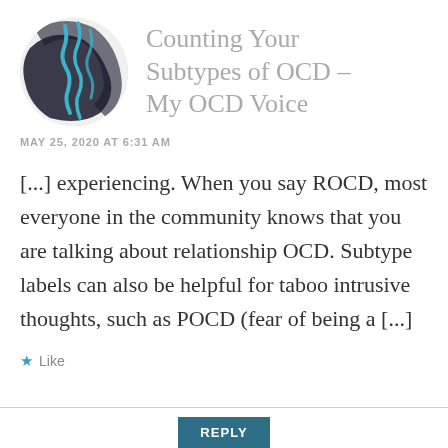[Figure (logo): Circular avatar image with teal squiggly lines and black curved shapes on a light grey background, representing the My OCD Voice blog logo]
Counting Your Subtypes of OCD – My OCD Voice
MAY 25, 2020 AT 6:31 AM
[...] experiencing. When you say ROCD, most everyone in the community knows that you are talking about relationship OCD. Subtype labels can also be helpful for taboo intrusive thoughts, such as POCD (fear of being a [...]
★ Like
REPLY